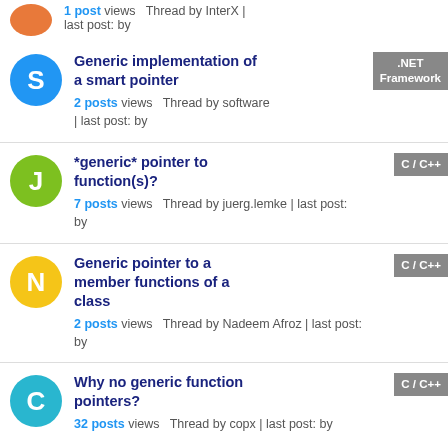1 post views  Thread by InterX | last post: by
Generic implementation of a smart pointer — 2 posts views  Thread by software | last post: by — tag: .NET Framework
*generic* pointer to function(s)? — 7 posts views  Thread by juerg.lemke | last post: by — tag: C / C++
Generic pointer to a member functions of a class — 2 posts views  Thread by Nadeem Afroz | last post: by — tag: C / C++
Why no generic function pointers? — 32 posts views  Thread by copx | last post: by — tag: C / C++